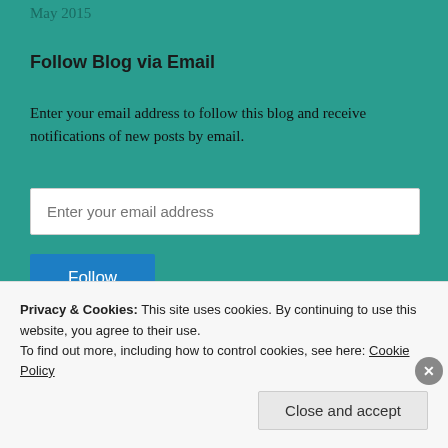May 2015
Follow Blog via Email
Enter your email address to follow this blog and receive notifications of new posts by email.
Join 569 other followers
Privacy & Cookies: This site uses cookies. By continuing to use this website, you agree to their use.
To find out more, including how to control cookies, see here: Cookie Policy
Close and accept